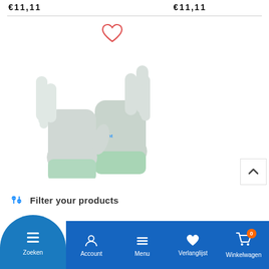€11,11   €11,11
[Figure (photo): Two gray work gloves with white fingertips and green knitted cuffs, shown from the back side on a white background. A red heart/wishlist icon appears above the gloves.]
Filter your products
Zoeken | Account | Menu | Verlanglijst | Winkelwagen (0)